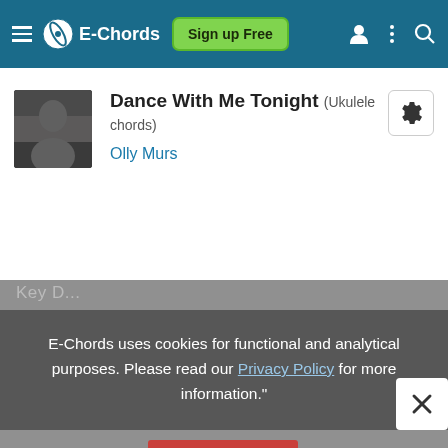E-Chords — Sign up Free
Dance With Me Tonight (Ukulele chords)
Olly Murs
E-Chords uses cookies for functional and analytical purposes. Please read our Privacy Policy for more information."